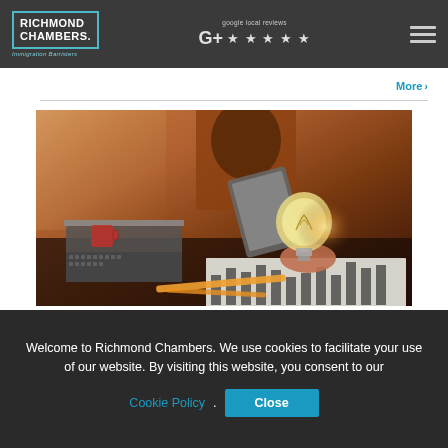RICHMOND CHAMBERS. Immigration Barristers | Google local reviews ★★★★★
More >
[Figure (photo): Person holding a glowing light bulb at a desk with a laptop, tablet, and papers]
Welcome to Richmond Chambers. We use cookies to facilitate your use of our website. By visiting this website, you consent to our Cookie Policy. Close